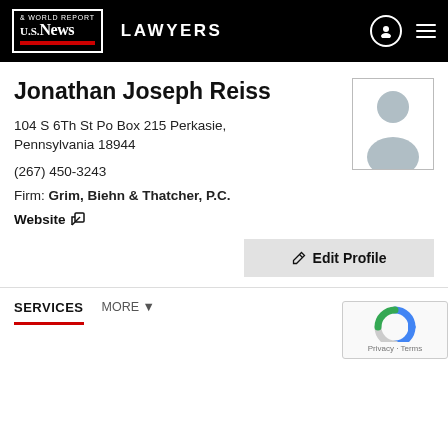US News & World Report LAWYERS
Jonathan Joseph Reiss
104 S 6Th St Po Box 215 Perkasie, Pennsylvania 18944
(267) 450-3243
Firm: Grim, Biehn & Thatcher, P.C.
Website ↗
[Figure (photo): Default avatar placeholder image of a person silhouette]
✎ Edit Profile
SERVICES
MORE ▼
[Figure (logo): reCAPTCHA widget with Privacy - Terms text]